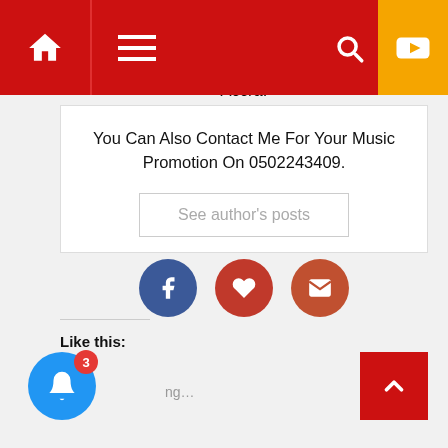Navigation bar with home, menu, search, and YouTube icons
Am Dj Sacklo A Blogger And A Digital Marketer And Also Work At Excellence FM In Accra.
You Can Also Contact Me For Your Music Promotion On 0502243409.
See author's posts
[Figure (illustration): Three social icon circles: Facebook (blue), heart/love (red), mail/envelope (orange-red)]
Like this:
[Figure (illustration): Blue bell notification button with red badge showing 3, and loading text]
[Figure (illustration): Red back-to-top button with up arrow chevron]